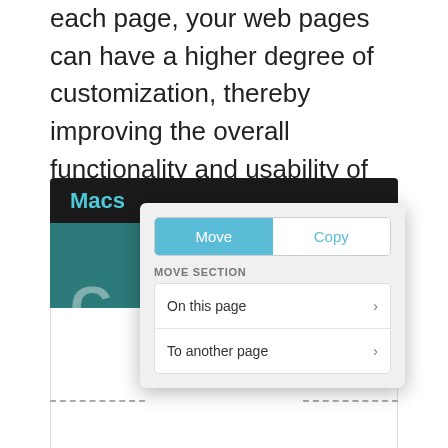each page, your web pages can have a higher degree of customization, thereby improving the overall functionality and usability of your site.
[Figure (screenshot): Screenshot of a website editor showing a Move/Copy modal dialog with options 'On this page' and 'To another page', overlaid on a dark-header teal-body page with the text 'Macs' visible.]